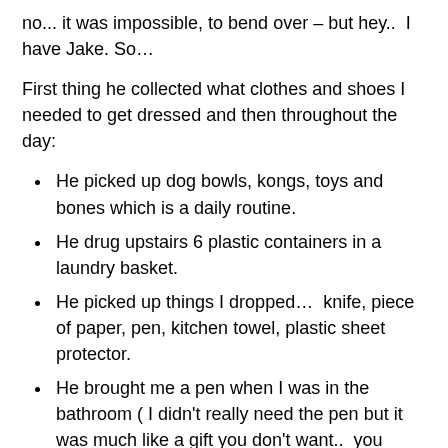no... it was impossible, to bend over – but hey..  I have Jake. So…
First thing he collected what clothes and shoes I needed to get dressed and then throughout the day:
He picked up dog bowls, kongs, toys and bones which is a daily routine.
He drug upstairs 6 plastic containers in a laundry basket.
He picked up things I dropped…  knife, piece of paper, pen, kitchen towel, plastic sheet protector.
He brought me a pen when I was in the bathroom ( I didn't really need the pen but it was much like a gift you don't want..  you smile and say thank you!!
I dropped an almond and he picked it up and I thought. oh well..  that almond is gone..  but then he took his tongue and pushed it out to my hand.
Over the last month he has